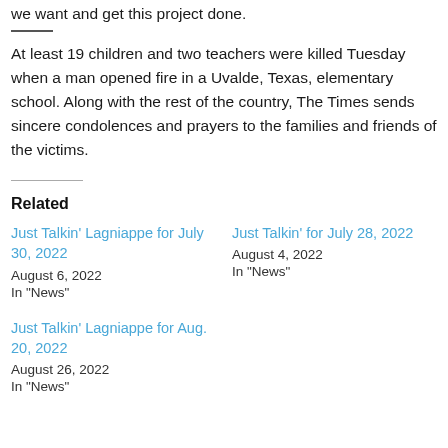we want and get this project done.
At least 19 children and two teachers were killed Tuesday when a man opened fire in a Uvalde, Texas, elementary school. Along with the rest of the country, The Times sends sincere condolences and prayers to the families and friends of the victims.
Related
Just Talkin' Lagniappe for July 30, 2022
August 6, 2022
In "News"
Just Talkin' for July 28, 2022
August 4, 2022
In "News"
Just Talkin' Lagniappe for Aug. 20, 2022
August 26, 2022
In "News"